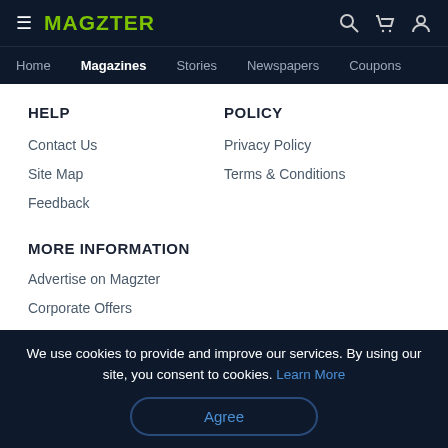MAGZTER — Home | Magazines | Stories | Newspapers | Coupons
HELP
Contact Us
Site Map
Feedback
POLICY
Privacy Policy
Terms & Conditions
MORE INFORMATION
Advertise on Magzter
Corporate Offers
Press - Media Kit
We use cookies to provide and improve our services. By using our site, you consent to cookies. Learn More
Agree